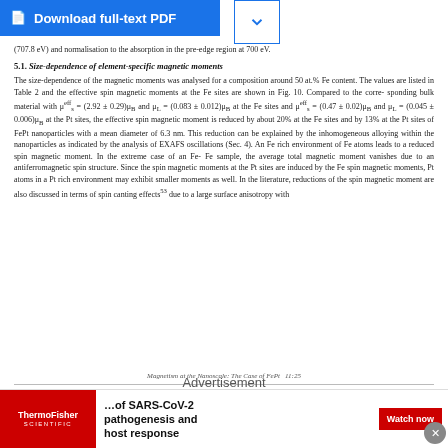(707.8 eV) and normalisation to the absorption in the pre-edge region at 700 eV.
5.1. Size-dependence of element-specific magnetic moments
The size-dependence of the magnetic moments was analysed for a composition around 50 at.% Fe content. The values are listed in Table 2 and the effective spin magnetic moments at the Fe sites are shown in Fig. 10. Compared to the corresponding bulk material with μseff = (2.92 ± 0.29)μB and μL = (0.083 ± 0.012)μB at the Fe sites and μseff = (0.47 ± 0.02)μB and μL = (0.045 ± 0.006)μB at the Pt sites, the effective spin magnetic moment is reduced by about 20% at the Fe sites and by 13% at the Pt sites of FePt nanoparticles with a mean diameter of 6.3 nm. This reduction can be explained by the inhomogeneous alloying within the nanoparticles as indicated by the analysis of EXAFS oscillations (Sec. 4). An Fe rich environment of Fe atoms leads to a reduced spin magnetic moment. In the extreme case of an Fe-Fe sample, the average total magnetic moment vanishes due to an antiferromagnetic spin structure. Since the spin magnetic moments at the Pt sites are induced by the Fe spin magnetic moments, Pt atoms in a Pt rich environment may exhibit smaller moments as well. In the literature, reductions of the spin magnetic moment are also discussed in terms of spin canting effects53 due to a large surface anisotropy with
Magnetism at the Nanoscale: The Case of FePt   11:25